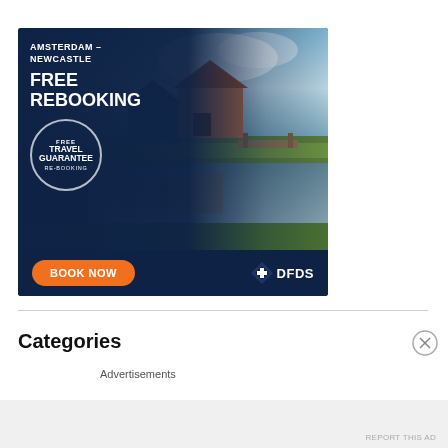[Figure (infographic): DFDS ferry advertisement banner. Dark navy background on left with text: AMSTERDAM - NEWCASTLE, FREE REBOOKING, circular Travel Guarantee badge, BOOK NOW orange button, DFDS logo. Right side shows scenic Dutch canal with traditional houses and reflection.]
Categories
Advertisements
REPORT THIS AD